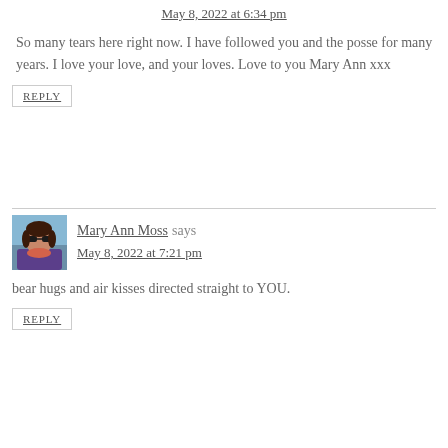May 8, 2022 at 6:34 pm
So many tears here right now. I have followed you and the posse for many years. I love your love, and your loves. Love to you Mary Ann xxx
REPLY
Mary Ann Moss says
May 8, 2022 at 7:21 pm
bear hugs and air kisses directed straight to YOU.
REPLY